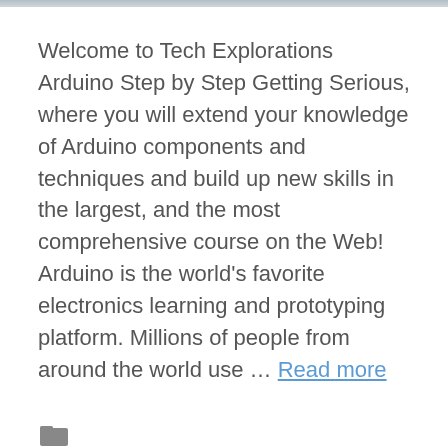Welcome to Tech Explorations Arduino Step by Step Getting Serious, where you will extend your knowledge of Arduino components and techniques and build up new skills in the largest, and the most comprehensive course on the Web! Arduino is the world's favorite electronics learning and prototyping platform. Millions of people from around the world use … Read more
IT and Software, udemy courses free download, udemy paid courses for free
Leave a comment